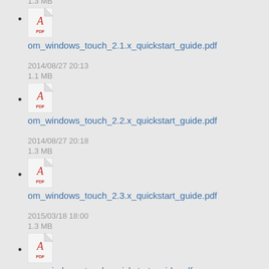1.3 MB
om_windows_touch_2.1.x_quickstart_guide.pdf
2014/08/27 20:13
1.1 MB
om_windows_touch_2.2.x_quickstart_guide.pdf
2014/08/27 20:18
1.3 MB
om_windows_touch_2.3.x_quickstart_guide.pdf
2015/03/18 18:00
1.3 MB
om_windows_touch_quickstart_guide.pdf